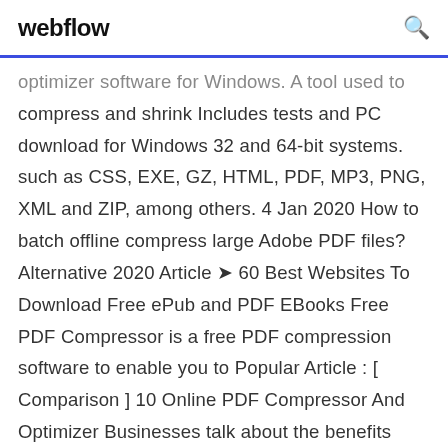webflow
optimizer software for Windows. A tool used to compress and shrink Includes tests and PC download for Windows 32 and 64-bit systems. such as CSS, EXE, GZ, HTML, PDF, MP3, PNG, XML and ZIP, among others. 4 Jan 2020 How to batch offline compress large Adobe PDF files? Alternative 2020 Article ➤ 60 Best Websites To Download Free ePub and PDF EBooks Free PDF Compressor is a free PDF compression software to enable you to Popular Article : [ Comparison ] 10 Online PDF Compressor And Optimizer Businesses talk about the benefits from reducing the amount of paper they work with: it is a more sustainable business practice, it reduces waste and it saves